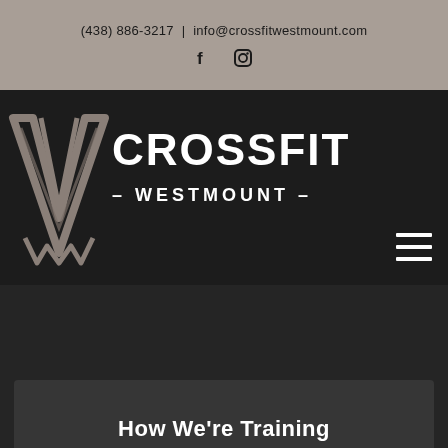(438) 886-3217  |  info@crossfitwestmount.com
[Figure (logo): Facebook and Instagram social media icons in the top contact/header bar]
[Figure (logo): CrossFit Westmount logo: a stylized winged V/W mark in grey on dark background, with 'CROSSFIT' in large white bold letters and '- WESTMOUNT -' below in smaller white bold letters with dashes]
[Figure (other): Hamburger menu icon (three horizontal lines) in white on the dark navigation bar, bottom right]
How We're Training